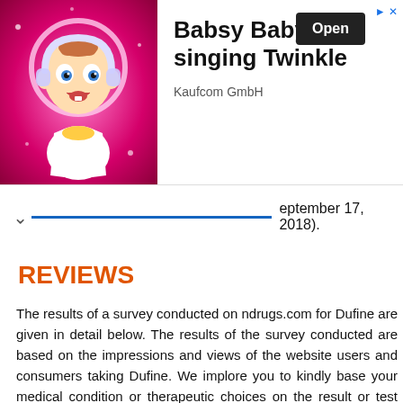[Figure (illustration): Advertisement banner for Babsy Baby singing Twinkle app by Kaufcom GmbH, featuring animated baby character on pink background with Open button]
September 17, 2018).
REVIEWS
The results of a survey conducted on ndrugs.com for Dufine are given in detail below. The results of the survey conducted are based on the impressions and views of the website users and consumers taking Dufine. We implore you to kindly base your medical condition or therapeutic choices on the result or test conducted by a physician or licensed medical practitioners.
User reports